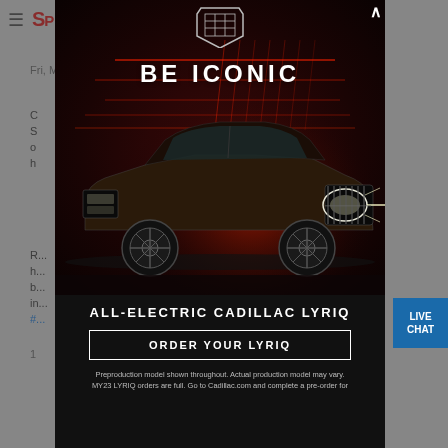Fri, M...
C... S... o... h...
R... h... b... in... #...
1
[Figure (photo): Cadillac LYRIQ all-electric SUV advertisement overlay modal with 'BE ICONIC' text over a dramatic red-lit scene with the vehicle, Cadillac shield logo at top, 'ALL-ELECTRIC CADILLAC LYRIQ' headline, 'ORDER YOUR LYRIQ' button, and disclaimer text at bottom. LIVE CHAT button visible on right side.]
ALL-ELECTRIC CADILLAC LYRIQ
ORDER YOUR LYRIQ
Preproduction model shown throughout. Actual production model may vary. MY23 LYRIQ orders are full. Go to Cadillac.com and complete a pre-order for